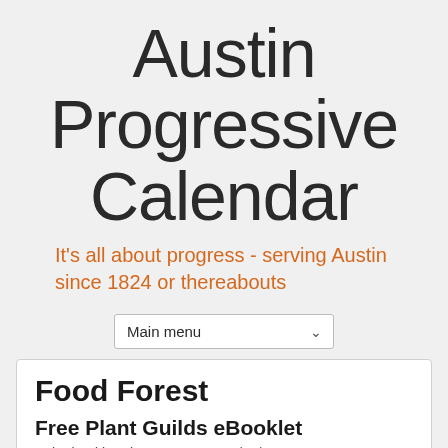Austin Progressive Calendar
It's all about progress - serving Austin since 1824 or thereabouts
Main menu
Food Forest
Free Plant Guilds eBooklet
Submitted by Kirsten on Mon, 09/15/2014 - 4:42pm